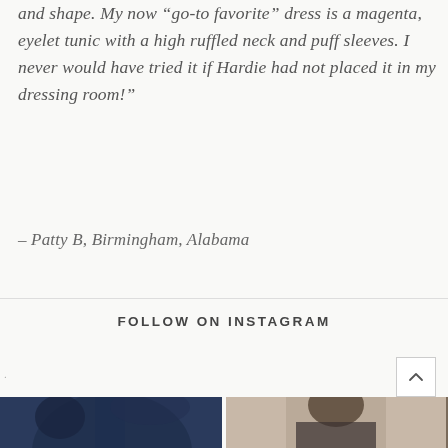and shape.  My now “go-to favorite” dress is a magenta,  eyelet tunic with a high ruffled neck and puff sleeves.  I never would have tried it if Hardie had not placed it in my dressing room!”
– Patty B, Birmingham, Alabama
FOLLOW ON INSTAGRAM
[Figure (photo): Photo of a dark navy bicycle handlebar area against a textured wall]
[Figure (photo): Photo of a woman with glasses and dark hair wearing a dark jacket with a necklace]